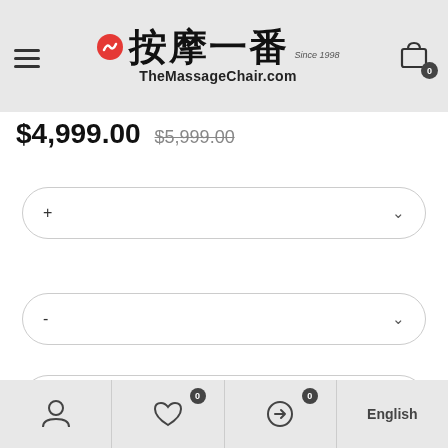按摩一番 TheMassageChair.com Since 1998
$4,999.00  $5,999.00
+
-
-
English